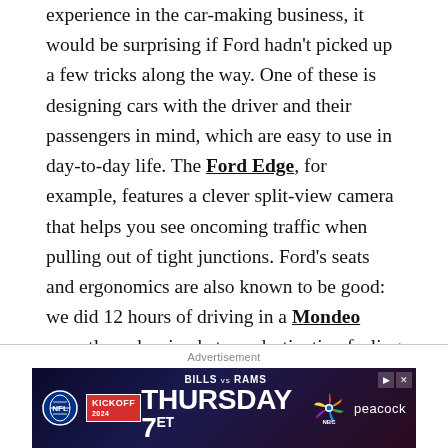experience in the car-making business, it would be surprising if Ford hadn't picked up a few tricks along the way. One of these is designing cars with the driver and their passengers in mind, which are easy to use in day-to-day life. The Ford Edge, for example, features a clever split-view camera that helps you see oncoming traffic when pulling out of tight junctions. Ford's seats and ergonomics are also known to be good: we did 12 hours of driving in a Mondeo recently and arrived at our destination feeling remarkably relaxed, without a single twinge of backache.
[Figure (other): Advertisement banner for NBC/Peacock: Bills vs Rams, Thursday 7ET NFL Kickoff promotion]